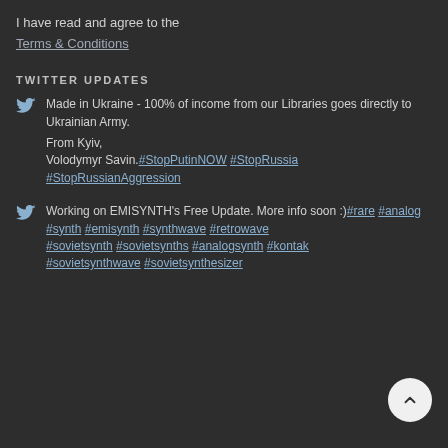I have read and agree to the Terms & Conditions
TWITTER UPDATES
Made in Ukraine - 100% of income from our Libraries goes directly to Ukrainian Army.

From Kyiv,
Volodymyr Savin.#StopPutinNOW #StopRussia #StopRussianAggression
Working on EMISYNTH's Free Update. More info soon :)#rare #analog #synth #emisynth #synthwave #retrowave #sovietsynth #sovietsynths #analogsynth #kontak #sovietsynthwave #sovietsynthesizer